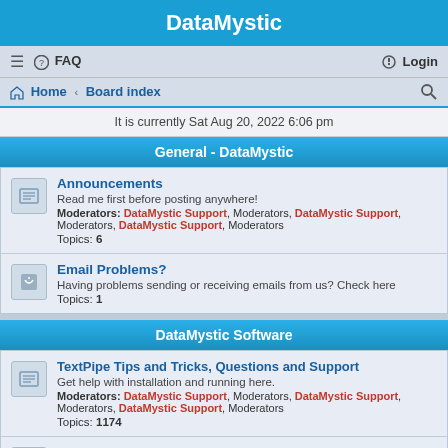DataMystic
≡  FAQ    Login
Home · Board index
It is currently Sat Aug 20, 2022 6:06 pm
General - DataMystic
Announcements
Read me first before posting anywhere!
Moderators: DataMystic Support, Moderators, DataMystic Support, Moderators, DataMystic Support, Moderators
Topics: 6
Email Problems?
Having problems sending or receiving emails from us? Check here
Topics: 1
DataMystic Software
TextPipe Tips and Tricks, Questions and Support
Get help with installation and running here.
Moderators: DataMystic Support, Moderators, DataMystic Support, Moderators, DataMystic Support, Moderators
Topics: 1174
WordPipe, ExcelPipe and PowerPointPipe Support
Discuss WordPipe, ExcelPipe and PowerPointPipe. Get help with installation and running, notify us of bugs, request new features and enhancements.